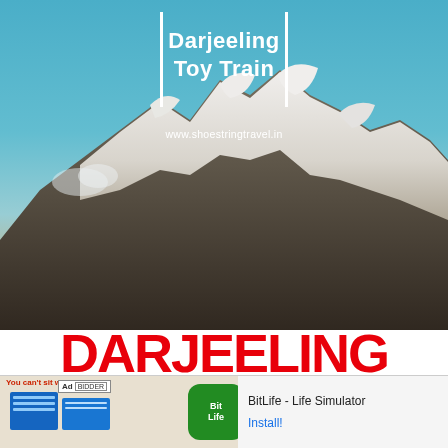[Figure (photo): Book cover or web page header showing snow-capped Himalayan mountains with blue sky. White vertical bars flank a centered title block. Title reads 'Darjeeling Toy Train' in bold white text. URL 'www.shoestringtravel.in' shown below title.]
Darjeeling Toy Train
www.shoestringtravel.in
DARJEELING TOY TRAIN
[Figure (screenshot): Advertisement banner at bottom: Ad label, BitLife - Life Simulator app ad with install button. Shows 'You can't sit with us' text and BitLife logo.]